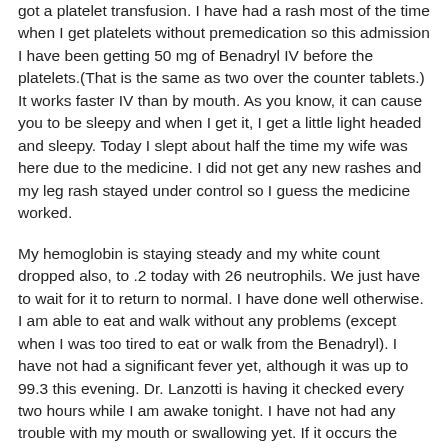got a platelet transfusion. I have had a rash most of the time when I get platelets without premedication so this admission I have been getting 50 mg of Benadryl IV before the platelets.(That is the same as two over the counter tablets.) It works faster IV than by mouth. As you know, it can cause you to be sleepy and when I get it, I get a little light headed and sleepy. Today I slept about half the time my wife was here due to the medicine. I did not get any new rashes and my leg rash stayed under control so I guess the medicine worked.
My hemoglobin is staying steady and my white count dropped also, to .2 today with 26 neutrophils. We just have to wait for it to return to normal. I have done well otherwise. I am able to eat and walk without any problems (except when I was too tired to eat or walk from the Benadryl). I have not had a significant fever yet, although it was up to 99.3 this evening. Dr. Lanzotti is having it checked every two hours while I am awake tonight. I have not had any trouble with my mouth or swallowing yet. If it occurs the same time as my last round of chemo, I will have trouble by mid to end of next week. We just have to wait and see.